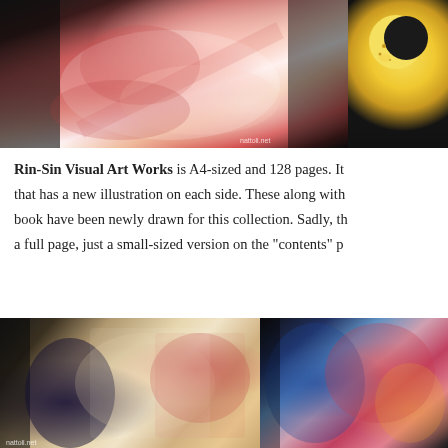[Figure (photo): Top photo showing anime illustration art book pages with a red-haired character in white, on black background; partially visible second image with crescent moon motif on right]
Rin-Sin Visual Art Works is A4-sized and 128 pages. It... that has a new illustration on each side. These along with... book have been newly drawn for this collection. Sadly, t... a full page, just a small-sized version on the "contents" p...
[Figure (photo): Bottom photo showing anime art book pages spread out with multiple female character illustrations, on black background]